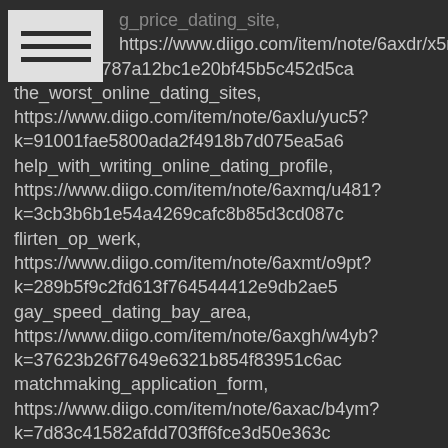g_price_dating_site, https://www.diigo.com/item/note/6axdr/x5n1?k=5e056e787a12bc1e20bf45b5c452d5ca the_worst_online_dating_sites, https://www.diigo.com/item/note/6axlu/yuc5?k=91001fae5800ada2f4918b7d075ea5a6 help_with_writing_online_dating_profile, https://www.diigo.com/item/note/6axmq/u481?k=3cb3b6b1e54a4269cafc8b85d3cd087c flirten_op_werk, https://www.diigo.com/item/note/6axmt/o9pt?k=289b5f9c2fd613f764544412e9db2ae5 gay_speed_dating_bay_area, https://www.diigo.com/item/note/6axgh/w4yb?k=37623b26f7649e6321b854f83951c6ac matchmaking_application_form, https://www.diigo.com/item/note/6axac/b4ym?k=7d83c41582afdd703ff6fce3d50e363c dating_an_ugly_nice_guy, https://www.diigo.com/item/note/6axbe/rxm5?k=5aaced1efe90f40ce41c65e86c61c440